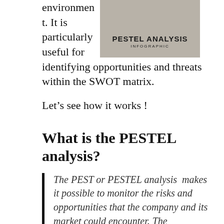environment. It is particularly useful for identifying opportunities and threats within the SWOT matrix.
[Figure (infographic): PESTEL ANALYSIS INFOGRAPHIC label on a gray background box]
Let’s see how it works !
What is the PESTEL analysis?
The PEST or PESTEL analysis  makes it possible to monitor the risks and opportunities that the company and its market could encounter. The